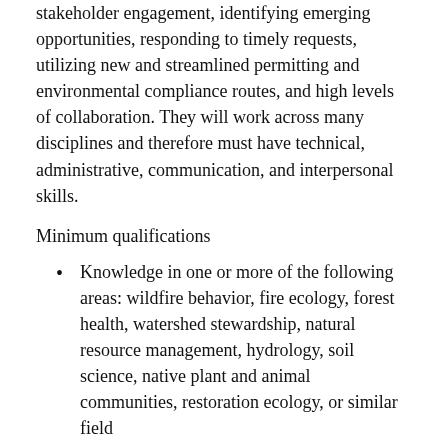stakeholder engagement, identifying emerging opportunities, responding to timely requests, utilizing new and streamlined permitting and environmental compliance routes, and high levels of collaboration. They will work across many disciplines and therefore must have technical, administrative, communication, and interpersonal skills.
Minimum qualifications
Knowledge in one or more of the following areas: wildfire behavior, fire ecology, forest health, watershed stewardship, natural resource management, hydrology, soil science, native plant and animal communities, restoration ecology, or similar field
Demonstrated ability in or transferable to conservation, program management, or a related field
Strong written and verbal communication skills and ability to work with a variety of people with